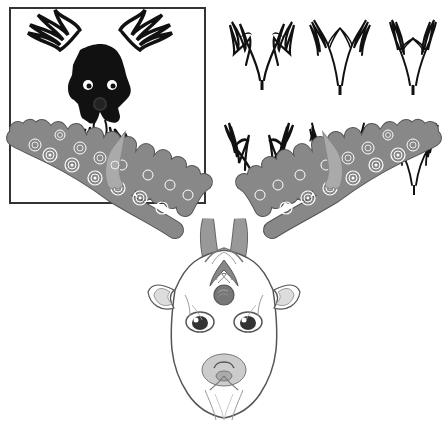[Figure (illustration): Top-left: A stylized tribal black silhouette illustration of a deer head with large antlers inside a square border. Top-right: Six small black silhouette variations of deer antlers arranged in two rows of three. Bottom: A large detailed zentangle/mandala-style artistic illustration of a deer head with ornately patterned antlers decorated with circles and swirl motifs, in black and white/gray tones.]